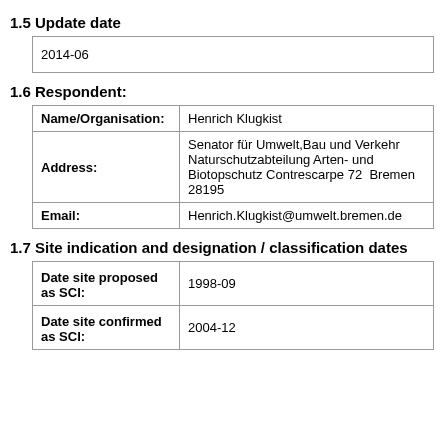1.5 Update date
| 2014-06 |
1.6 Respondent:
| Name/Organisation: | Henrich Klugkist |
| Address: | Senator für Umwelt,Bau und Verkehr  Naturschutzabteilung Arten- und Biotopschutz Contrescarpe 72  Bremen  28195 |
| Email: | Henrich.Klugkist@umwelt.bremen.de |
1.7 Site indication and designation / classification dates
| Date site proposed as SCI: | 1998-09 |
| Date site confirmed as SCI: | 2004-12 |